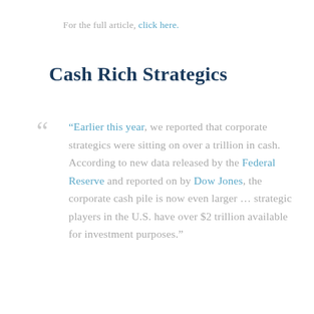For the full article, click here.
Cash Rich Strategics
“Earlier this year, we reported that corporate strategics were sitting on over a trillion in cash. According to new data released by the Federal Reserve and reported on by Dow Jones, the corporate cash pile is now even larger … strategic players in the U.S. have over $2 trillion available for investment purposes.”